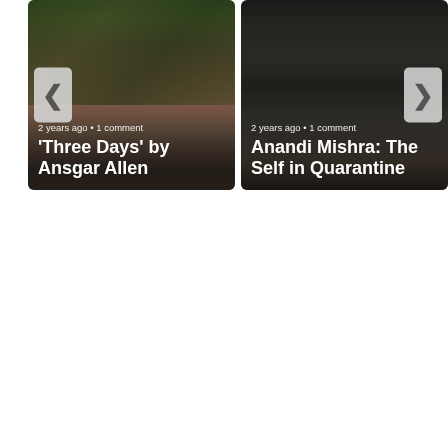[Figure (photo): Left card: photo of a garden bench against a brick wall with ivy/foliage. Navigation left arrow visible. Overlay text shows '2 years ago • 1 comment' and title ''Three Days' by Ansgar Allen']
[Figure (photo): Right card: dark moody photo of outdoor porch/deck with rustic objects. Navigation right arrow visible. Overlay text shows '2 years ago • 1 comment' and title 'Anandi Mishra: The Self in Quarantine']